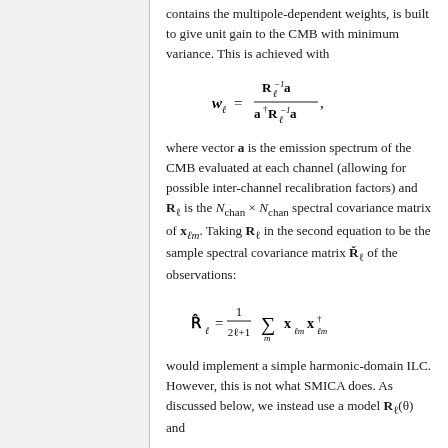contains the multipole-dependent weights, is built to give unit gain to the CMB with minimum variance. This is achieved with
where vector a is the emission spectrum of the CMB evaluated at each channel (allowing for possible inter-channel recalibration factors) and R_ℓ is the N_chan × N_chan spectral covariance matrix of x_ℓm. Taking R_ℓ in the second equation to be the sample spectral covariance matrix &#344;_ℓ of the observations:
would implement a simple harmonic-domain ILC. However, this is not what SMICA does. As discussed below, we instead use a model R_ℓ(θ) and